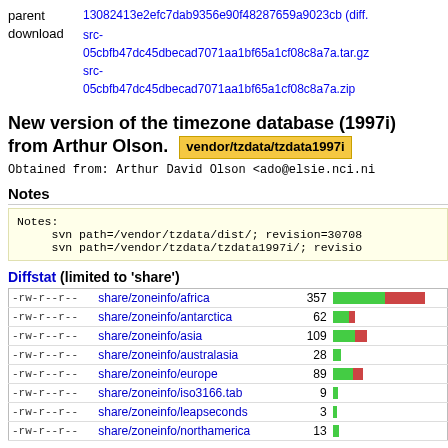parent   13082413e2efc7dab9356e90f48287659a9023cb (diff.
download   src-05cbfb47dc45dbecad7071aa1bf65a1cf08c8a7a.tar.gz src-05cbfb47dc45dbecad7071aa1bf65a1cf08c8a7a.zip
New version of the timezone database (1997i) from Arthur Olson. vendor/tzdata/tzdata1997i
Obtained from: Arthur David Olson <ado@elsie.nci.ni
Notes
Notes:
     svn path=/vendor/tzdata/dist/; revision=30708
     svn path=/vendor/tzdata/tzdata1997i/; revision
Diffstat (limited to 'share')
| permissions | file | lines | bar |
| --- | --- | --- | --- |
| -rw-r--r-- | share/zoneinfo/africa | 357 |  |
| -rw-r--r-- | share/zoneinfo/antarctica | 62 |  |
| -rw-r--r-- | share/zoneinfo/asia | 109 |  |
| -rw-r--r-- | share/zoneinfo/australasia | 28 |  |
| -rw-r--r-- | share/zoneinfo/europe | 89 |  |
| -rw-r--r-- | share/zoneinfo/iso3166.tab | 9 |  |
| -rw-r--r-- | share/zoneinfo/leapseconds | 3 |  |
| -rw-r--r-- | share/zoneinfo/northamerica | 13 |  |